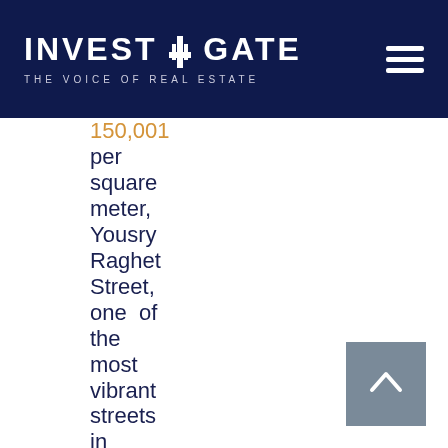INVESTAGATE THE VOICE OF REAL ESTATE
150,001 per square meter, Yousry Raghet Street, one of the most vibrant streets in Assiut, Upper Egypt, comes in second